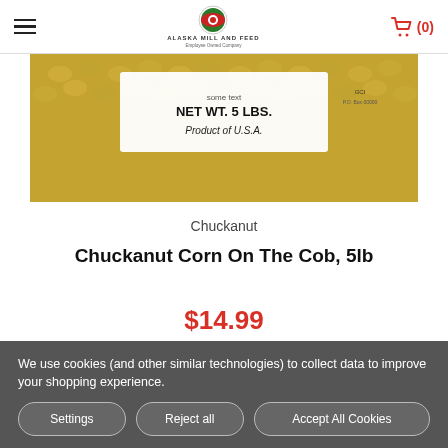Alaska Mill and Feed — Employee Owned Company | Cart (0)
[Figure (photo): Product image of Chuckanut Corn On The Cob 5lb bag showing NET WT. 5 LBS. Product of U.S.A. on white bag label, placed on dried corn cobs background]
Chuckanut
Chuckanut Corn On The Cob, 5lb
$14.99
LOW - OUT OF STOCK
We use cookies (and other similar technologies) to collect data to improve your shopping experience.
Settings | Reject all | Accept All Cookies